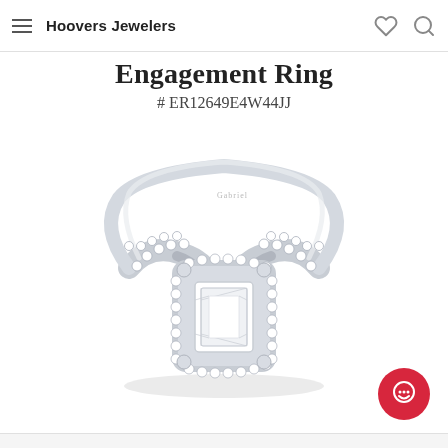Hoovers Jewelers
Engagement Ring
# ER12649E4W44JJ
[Figure (photo): White gold emerald-cut halo engagement ring with split shank and pavé diamonds, product photo on white background]
[Figure (other): Red circular chat/messaging button in bottom right corner]